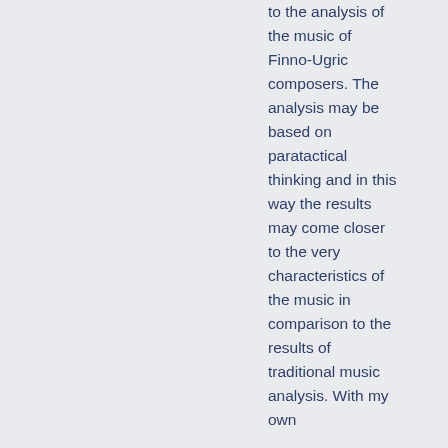to the analysis of the music of Finno-Ugric composers. The analysis may be based on paratactical thinking and in this way the results may come closer to the very characteristics of the music in comparison to the results of traditional music analysis. With my own